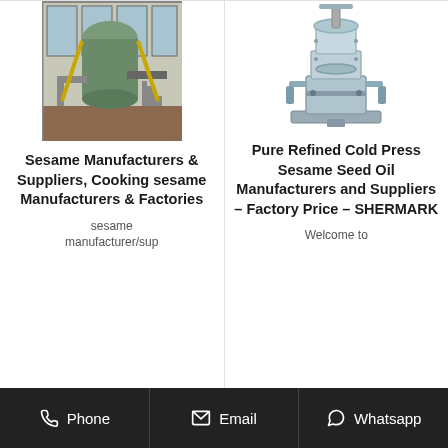[Figure (photo): Industrial sesame oil extraction plant interior with large green tank/vessel and stairs]
[Figure (photo): Pure refined cold press sesame seed oil machine, stainless steel press equipment]
Sesame Manufacturers & Suppliers, Cooking sesame Manufacturers & Factories
Pure Refined Cold Press Sesame Seed Oil Manufacturers and Suppliers – Factory Price – SHERMARK
sesame manufacturer/sup
Welcome to
Phone   Email   Whatsapp